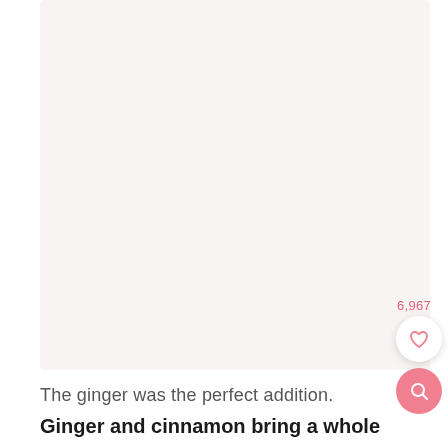[Figure (photo): Light pinkish-white blank image area representing a food photo placeholder]
6,967
The ginger was the perfect addition.
Ginger and cinnamon bring a whole